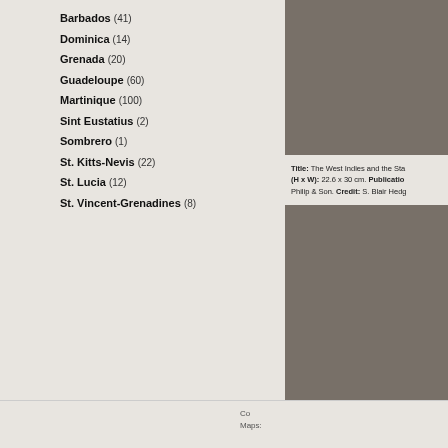Barbados (41)
Dominica (14)
Grenada (20)
Guadeloupe (60)
Martinique (100)
Sint Eustatius (2)
Sombrero (1)
St. Kitts-Nevis (22)
St. Lucia (12)
St. Vincent-Grenadines (8)
PUERTO RICO (128)
TRINIDAD-TOBAGO (16)
VIRGIN ISLANDS (47)
[Figure (logo): caribherp and caribnature logos]
Share
Title: The West Indies and the Sta... (H x W): 22.6 x 30 cm. Publication Philip & Son. Credit: S. Blair Hedg...
Co Maps: